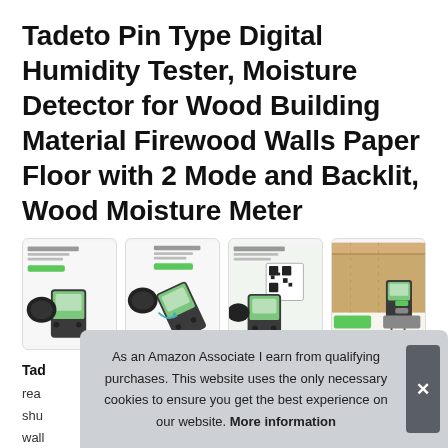Tadeto Pin Type Digital Humidity Tester, Moisture Detector for Wood Building Material Firewood Walls Paper Floor with 2 Mode and Backlit, Wood Moisture Meter
[Figure (photo): Four product thumbnail images of the Tadeto moisture meter device showing different angles and features]
Tad... read... shu... wall...
As an Amazon Associate I earn from qualifying purchases. This website uses the only necessary cookies to ensure you get the best experience on our website. More information